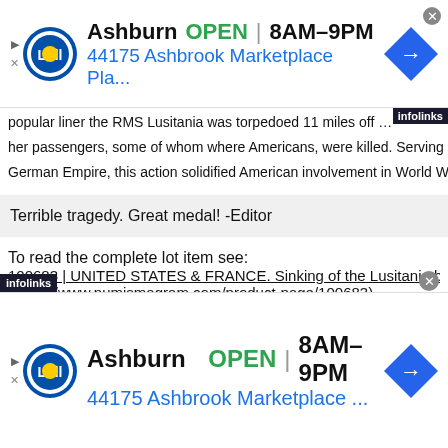[Figure (other): Lidl advertisement banner: Ashburn OPEN 8AM-9PM, 44175 Ashbrook Marketplace Pla... with Lidl logo and navigation arrow icon]
popular liner the RMS Lusitania was torpedoed 11 miles off ... her passengers, some of whom where Americans, were killed. Serving as a... German Empire, this action solidified American involvement in World Wa...
Terrible tragedy. Great medal! -Editor
To read the complete lot item see:
100683 | UNITED STATES & FRANCE. Sinking of the Lusitania bronze ...
(https://www.numismagram.com/product-page/100683)
Red Crescent Zinc Award Medal
[Figure (other): Lidl advertisement banner (bottom): Ashburn OPEN 8AM-9PM, 44175 Ashbrook Marketplace ... with Lidl logo and navigation arrow icon, infolinks badge]